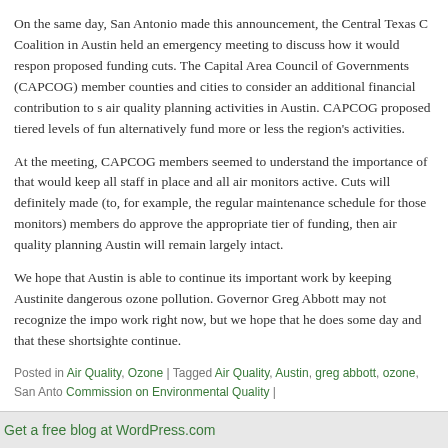On the same day, San Antonio made this announcement, the Central Texas C Coalition in Austin held an emergency meeting to discuss how it would respon proposed funding cuts. The Capital Area Council of Governments (CAPCOG) member counties and cities to consider an additional financial contribution to s air quality planning activities in Austin. CAPCOG proposed tiered levels of fun alternatively fund more or less the region's activities.
At the meeting, CAPCOG members seemed to understand the importance of that would keep all staff in place and all air monitors active. Cuts will definitely made (to, for example, the regular maintenance schedule for those monitors) members do approve the appropriate tier of funding, then air quality planning Austin will remain largely intact.
We hope that Austin is able to continue its important work by keeping Austinite dangerous ozone pollution. Governor Greg Abbott may not recognize the impo work right now, but we hope that he does some day and that these shortsighte continue.
Posted in Air Quality, Ozone | Tagged Air Quality, Austin, greg abbott, ozone, San Anto Commission on Environmental Quality |